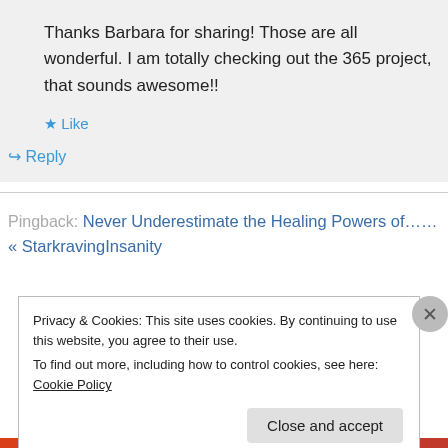Thanks Barbara for sharing! Those are all wonderful. I am totally checking out the 365 project, that sounds awesome!!
★ Like
↳ Reply
Pingback: Never Underestimate the Healing Powers of…… « StarkravingInsanity
Privacy & Cookies: This site uses cookies. By continuing to use this website, you agree to their use.
To find out more, including how to control cookies, see here: Cookie Policy
Close and accept